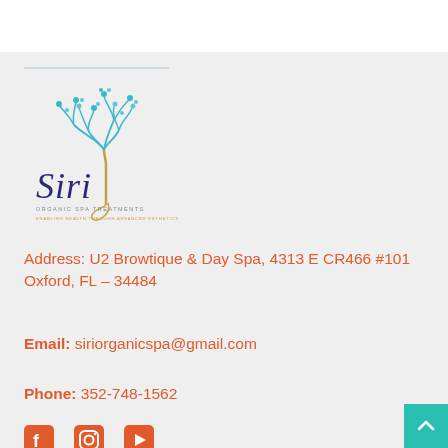[Figure (logo): Siri Organic Spa Treatments logo — decorative script 'Siri' text with an illustrated tree made of teal/blue branches with a golden trunk, tagline 'ORGANIC SPA TREATMENTS' and 'ENABLING HEALTH THROUGH ADVANCED ESTHETICS']
Address: U2 Browtique & Day Spa, 4313 E CR466 #101 Oxford, FL – 34484
Email: siriorganicspa@gmail.com
Phone: 352-748-1562
[Figure (other): Social media icons: Facebook, Instagram, YouTube]